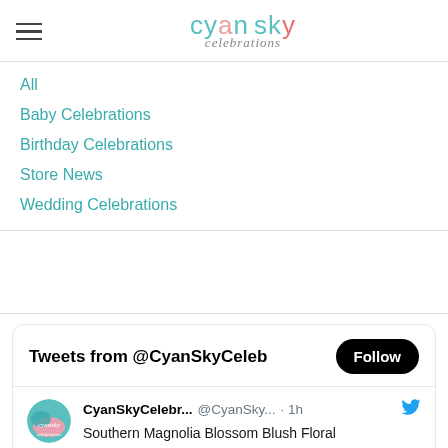cyan sky celebrations
All
Baby Celebrations
Birthday Celebrations
Store News
Wedding Celebrations
Tweets from @CyanSkyCeleb  Follow  CyanSkyCelebr... @CyanSky... · 1h  Southern Magnolia Blossom Blush Floral